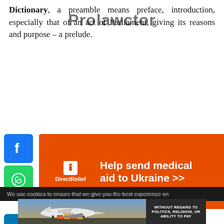Dictionary, a preamble means preface, introduction, especially that of an act of Parliament, giving its reasons and purpose – a prelude.
[Figure (other): Watermark overlay text reading 'Prolawctor']
[Figure (infographic): Social share buttons (Facebook, WhatsApp, LinkedIn, Telegram, More) arranged vertically on the left, with an orange Direct Relief advertisement banner reading 'Help send medical aid to Ukraine >>']
We use cookies to ensure that we give you the best experience on
[Figure (photo): Photo of cargo being loaded onto an airplane, with a dark overlay on the right reading 'WITHOUT REGARD TO POLITICS, RELIGION, OR ABILITY TO PAY']